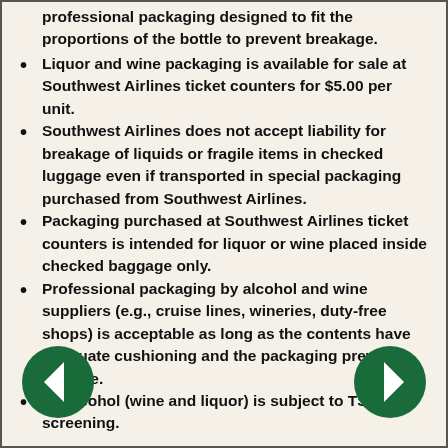professional packaging designed to fit the proportions of the bottle to prevent breakage.
Liquor and wine packaging is available for sale at Southwest Airlines ticket counters for $5.00 per unit.
Southwest Airlines does not accept liability for breakage of liquids or fragile items in checked luggage even if transported in special packaging purchased from Southwest Airlines.
Packaging purchased at Southwest Airlines ticket counters is intended for liquor or wine placed inside checked baggage only.
Professional packaging by alcohol and wine suppliers (e.g., cruise lines, wineries, duty-free shops) is acceptable as long as the contents have adequate cushioning and the packaging prevents leakage.
All alcohol (wine and liquor) is subject to TSA screening.
[Figure (illustration): Left navigation arrow button (dark green circle with white left-pointing arrow)]
[Figure (illustration): Right navigation arrow button (dark green circle with white right-pointing arrow)]